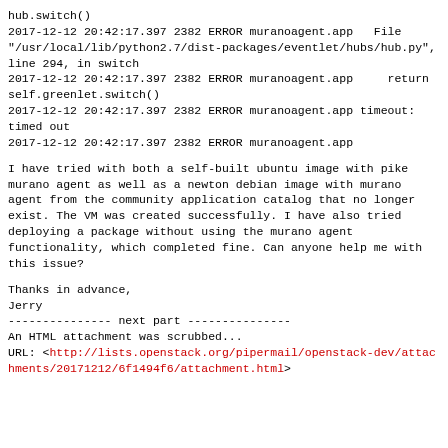hub.switch()
2017-12-12 20:42:17.397 2382 ERROR muranoagent.app   File "/usr/local/lib/python2.7/dist-packages/eventlet/hubs/hub.py", line 294, in switch
2017-12-12 20:42:17.397 2382 ERROR muranoagent.app     return self.greenlet.switch()
2017-12-12 20:42:17.397 2382 ERROR muranoagent.app timeout: timed out
2017-12-12 20:42:17.397 2382 ERROR muranoagent.app
I have tried with both a self-built ubuntu image with pike murano agent as well as a newton debian image with murano agent from the community application catalog that no longer exist. The VM was created successfully. I have also tried deploying a package without using the murano agent functionality, which completed fine. Can anyone help me with this issue?
Thanks in advance,
Jerry
--------------- next part ---------------
An HTML attachment was scrubbed...
URL: <http://lists.openstack.org/pipermail/openstack-dev/attachments/20171212/6f1494f6/attachment.html>